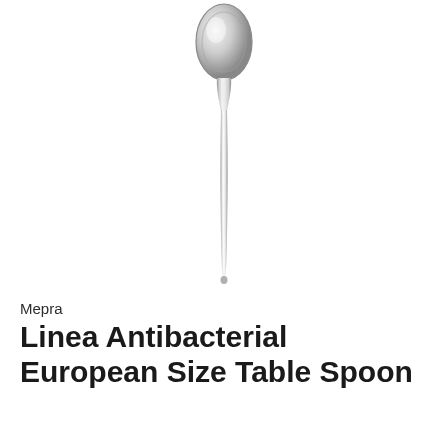[Figure (photo): A stainless steel spoon photographed from above against a white background, showing the bowl at the top and a long slender handle tapering to a rounded end at the bottom. The spoon has a mirror-polished finish.]
Mepra
Linea Antibacterial European Size Table Spoon